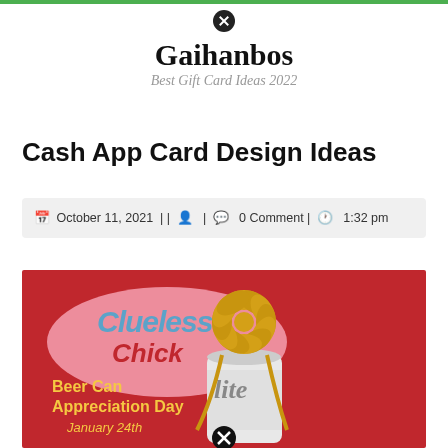Gaihanbos — Best Gift Card Ideas 2022
Cash App Card Design Ideas
October 11, 2021 | | 0 Comment | 1:32 pm
[Figure (photo): Photo of a Miller Lite beer can decorated with a large gold gift bow on a red background. Text overlay reads 'Clueless Chick' and 'Beer Can Appreciation Day January 24th'.]